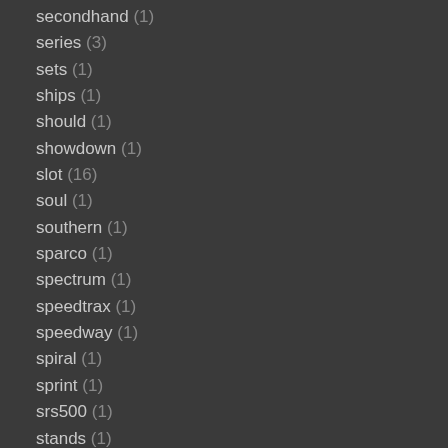secondhand (1)
series (3)
sets (1)
ships (1)
should (1)
showdown (1)
slot (16)
soul (1)
southern (1)
sparco (1)
spectrum (1)
speedtrax (1)
speedway (1)
spiral (1)
sprint (1)
srs500 (1)
stands (1)
star (1)